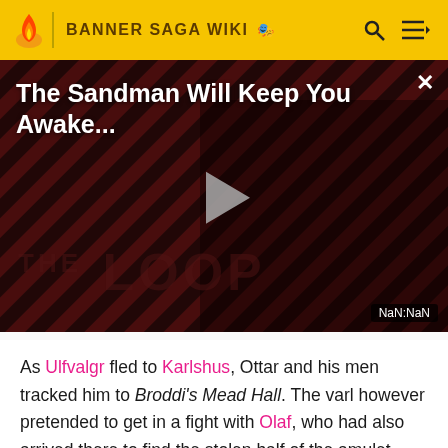BANNER SAGA WIKI
[Figure (screenshot): Video player showing 'The Sandman Will Keep You Awake...' with a dark stylized background featuring diagonal stripes in red and black, a figure in black, THE LOOP branding, a play button, close button, and NaN:NaN time display]
As Ulfvalgr fled to Karlshus, Ottar and his men tracked him to Broddi's Mead Hall. The varl however pretended to get in a fight with Olaf, who had also arrived there to find the stolen half of the amulet. This resulted in a bar brawl